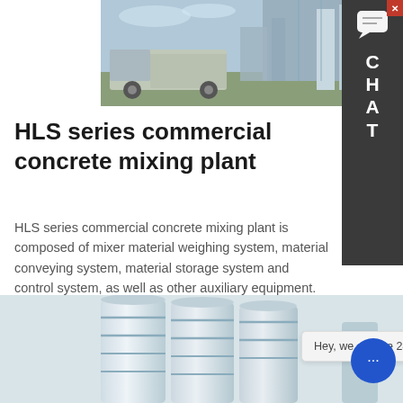[Figure (photo): Industrial concrete mixing plant with trucks and silos, outdoor setting with blue sky]
[Figure (screenshot): Dark sidebar chat widget with close button (red X), speech bubble icon, and letters C H A T stacked vertically]
HLS series commercial concrete mixing plant
HLS series commercial concrete mixing plant is composed of mixer material weighing system, material conveying system, material storage system and control system, as well as other auxiliary equipment. Compared with aggregate weighing of concrete mixing plant four intermediate processes are cut.
LEARN MORE
[Figure (photo): Bottom portion showing large white and blue industrial silos/tanks]
Hey, we are live 24/7. How may I help you?